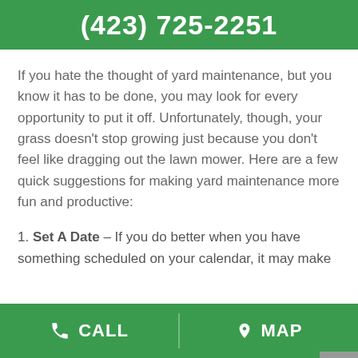(423) 725-2251
If you hate the thought of yard maintenance, but you know it has to be done, you may look for every opportunity to put it off. Unfortunately, though, your grass doesn't stop growing just because you don't feel like dragging out the lawn mower. Here are a few quick suggestions for making yard maintenance more fun and productive:
1. Set A Date – If you do better when you have something scheduled on your calendar, it may make
CALL   MAP